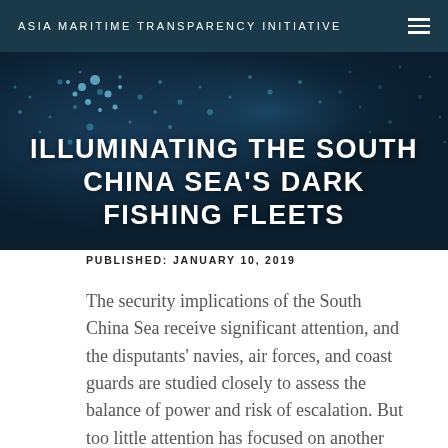ASIA MARITIME TRANSPARENCY INITIATIVE
[Figure (illustration): Dark navy background with faint light-blue dotted map/network overlay representing maritime geography, serving as hero background]
ILLUMINATING THE SOUTH CHINA SEA'S DARK FISHING FLEETS
PUBLISHED: JANUARY 10, 2019
The security implications of the South China Sea receive significant attention, and the disputants' navies, air forces, and coast guards are studied closely to assess the balance of power and risk of escalation. But too little attention has focused on another key set of actors in the